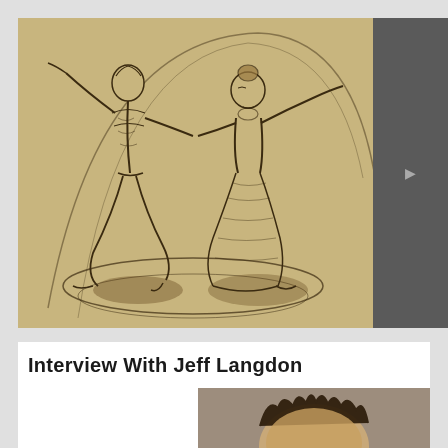[Figure (illustration): Pencil sketch drawing on tan/beige paper of two dancers — a male figure on the left with arm raised, and a female figure in a dress on the right with arm extended — holding hands and dancing together on a circular platform. A large circular arc frames them from behind. Partially covered by a dark gray panel on the right side.]
Interview With Jeff Langdon
[Figure (photo): Partial photo of a person with dark spiky hair, cropped at bottom of page.]